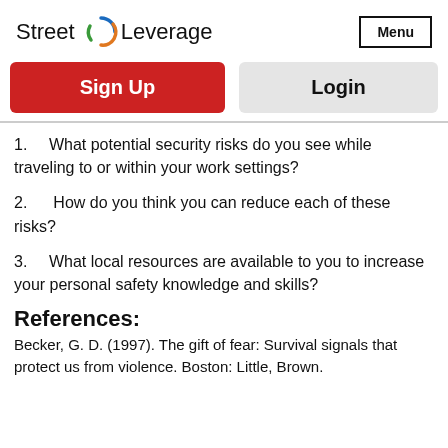Street Leverage | Menu
[Figure (logo): Street Leverage logo with circular arrow icon in blue/green/orange]
1. What potential security risks do you see while traveling to or within your work settings?
2. How do you think you can reduce each of these risks?
3. What local resources are available to you to increase your personal safety knowledge and skills?
References:
Becker, G. D. (1997). The gift of fear: Survival signals that protect us from violence. Boston: Little, Brown.